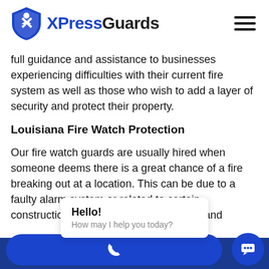[Figure (logo): XPressGuards logo with shield icon and text 'XPressGuards']
full guidance and assistance to businesses experiencing difficulties with their current fire system as well as those who wish to add a layer of security and protect their property.
Louisiana Fire Watch Protection
Our fire watch guards are usually hired when someone deems there is a great chance of a fire breaking out at a location. This can be due to a faulty alarm system or related to certain construction processes such as welding and